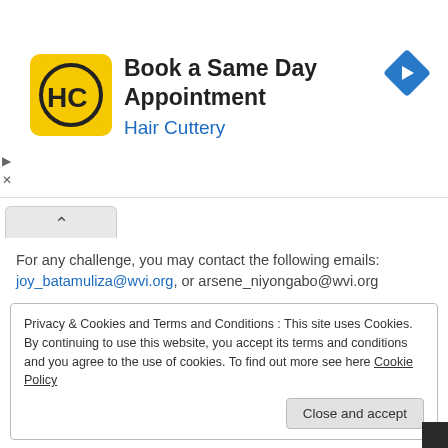[Figure (infographic): Hair Cuttery advertisement banner with yellow logo containing HC letters, title 'Book a Same Day Appointment', subtitle 'Hair Cuttery' in blue, and a blue navigation arrow icon on the right]
For any challenge, you may contact the following emails:
joy_batamuliza@wvi.org, or arsene_niyongabo@wvi.org
Done at Kigali, on 15th June, 2022
Pauline Okumu
Privacy & Cookies and Terms and Conditions : This site uses Cookies. By continuing to use this website, you accept its terms and conditions and you agree to the use of cookies. To find out more see here Cookie Policy